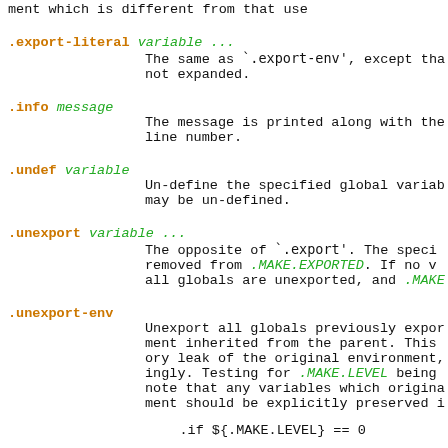ment which is different from that use
.export-literal variable ...
            The same as `.export-env', except tha
            not expanded.
.info message
            The message is printed along with the
            line number.
.undef variable
            Un-define the specified global variab
            may be un-defined.
.unexport variable ...
            The opposite of `.export'. The speci
            removed from .MAKE.EXPORTED. If no v
            all globals are unexported, and .MAKE
.unexport-env
            Unexport all globals previously expor
            ment inherited from the parent. This
            ory leak of the original environment,
            ingly. Testing for .MAKE.LEVEL being
            note that any variables which origina
            ment should be explicitly preserved i
.if ${.MAKE.LEVEL} == 0